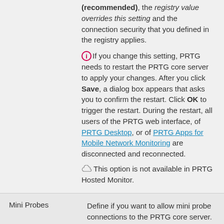(recommended), the registry value overrides this setting and the connection security that you defined in the registry applies.
If you change this setting, PRTG needs to restart the PRTG core server to apply your changes. After you click Save, a dialog box appears that asks you to confirm the restart. Click OK to trigger the restart. During the restart, all users of the PRTG web interface, of PRTG Desktop, or of PRTG Apps for Mobile Network Monitoring are disconnected and reconnected.
This option is not available in PRTG Hosted Monitor.
Mini Probes
Define if you want to allow mini probe connections to the PRTG core server. Choose from:
Do not allow mini probes: Mini probes cannot connect to the PRTG web server. You are not able to monitor with mini